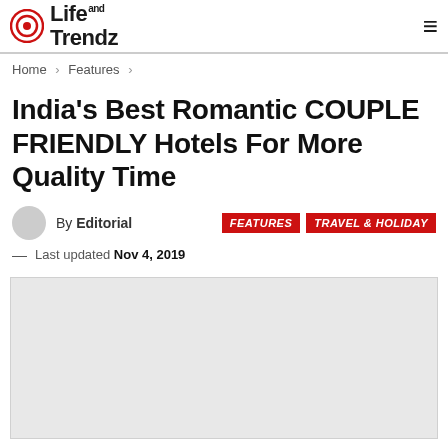Life and Trendz
Home > Features >
India's Best Romantic COUPLE FRIENDLY Hotels For More Quality Time
By Editorial   FEATURES   TRAVEL & HOLIDAY
— Last updated Nov 4, 2019
[Figure (photo): Light gray placeholder image area for article photo]